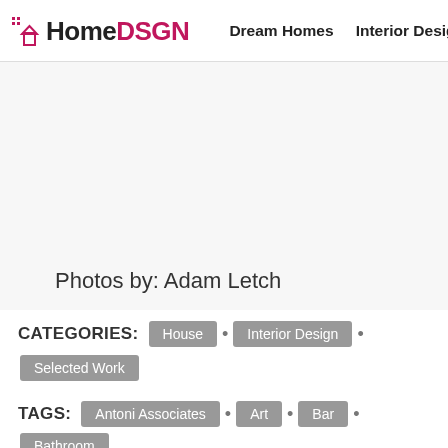HomeDSGN | Dream Homes | Interior Design ▾ | Hou…
Photos by: Adam Letch
CATEGORIES: House • Interior Design • Selected Work
TAGS: Antoni Associates • Art • Bar • Bathroom • Bedroom • Cape Town • Decorative Accessory • Dining Room • Exposed Ceiling Beams • Fireplace • Glass Wall • Kitchen • Chandelier • Living Room…